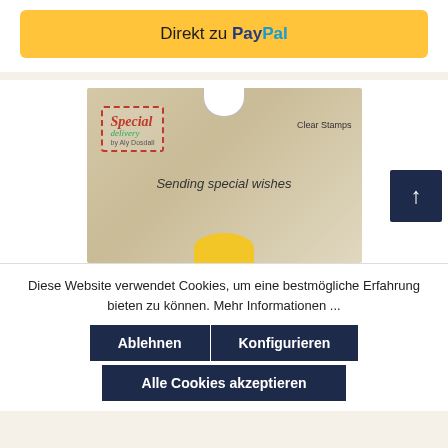[Figure (screenshot): Yellow PayPal button with text 'Direkt zu PayPal']
[Figure (photo): Product photo of 'Special Delivery Clear Stamps' craft product with text 'Sending special wishes']
Diese Website verwendet Cookies, um eine bestmögliche Erfahrung bieten zu können. Mehr Informationen ...
Ablehnen
Konfigurieren
Alle Cookies akzeptieren